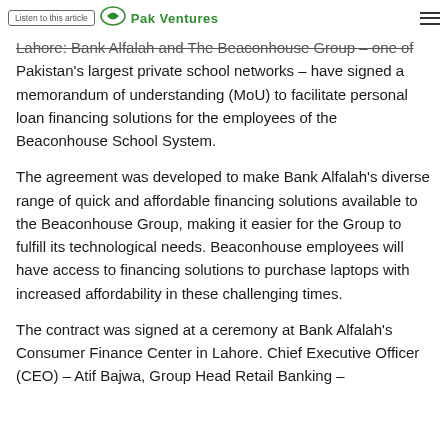Listen to this article | Pak Ventures
Lahore: Bank Alfalah and The Beaconhouse Group – one of Pakistan's largest private school networks – have signed a memorandum of understanding (MoU) to facilitate personal loan financing solutions for the employees of the Beaconhouse School System.
The agreement was developed to make Bank Alfalah's diverse range of quick and affordable financing solutions available to the Beaconhouse Group, making it easier for the Group to fulfill its technological needs. Beaconhouse employees will have access to financing solutions to purchase laptops with increased affordability in these challenging times.
The contract was signed at a ceremony at Bank Alfalah's Consumer Finance Center in Lahore. Chief Executive Officer (CEO) – Atif Bajwa, Group Head Retail Banking –